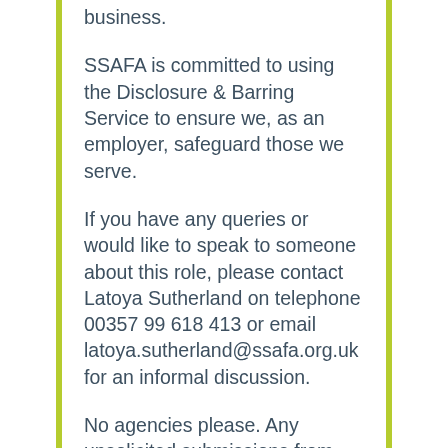business.
SSAFA is committed to using the Disclosure & Barring Service to ensure we, as an employer, safeguard those we serve.
If you have any queries or would like to speak to someone about this role, please contact Latoya Sutherland on telephone 00357 99 618 413 or email latoya.sutherland@ssafa.org.uk for an informal discussion.
No agencies please. Any unsolicited submissions from agencies will be accepted as a direct application from the